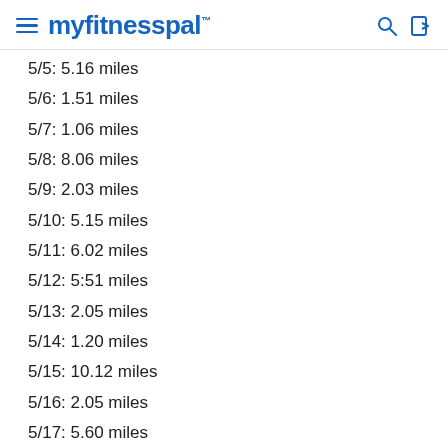myfitnesspal
5/5: 5.16 miles
5/6: 1.51 miles
5/7: 1.06 miles
5/8: 8.06 miles
5/9: 2.03 miles
5/10: 5.15 miles
5/11: 6.02 miles
5/12: 5:51 miles
5/13: 2.05 miles
5/14: 1.20 miles
5/15: 10.12 miles
5/16: 2.05 miles
5/17: 5.60 miles
80.13/100 miles completed for May
I forgot to update last night but I ran two miles